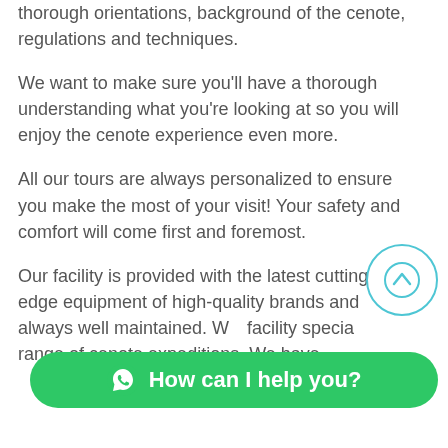thorough orientations, background of the cenote, regulations and techniques.
We want to make sure you'll have a thorough understanding what you're looking at so you will enjoy the cenote experience even more.
All our tours are always personalized to ensure you make the most of your visit! Your safety and comfort will come first and foremost.
Our facility is provided with the latest cutting-edge equipment of high-quality brands and always well maintained. W... facility specia... range of cenote expeditions. We have
[Figure (illustration): A circular scroll-to-top button with a cyan/teal border and an upward arrow icon]
[Figure (illustration): A green rounded WhatsApp chat button with a WhatsApp icon and the text 'How can I help you?']